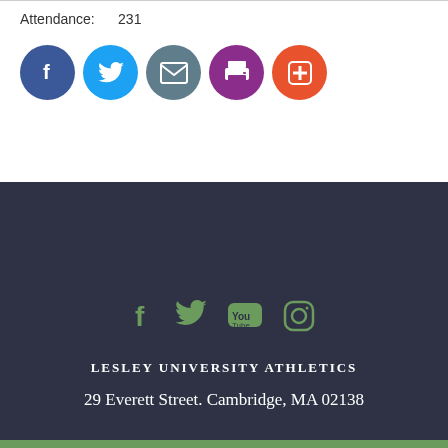Attendance: 231
[Figure (infographic): Row of five colored social sharing buttons: Facebook (dark blue), Twitter (light blue), Email (grey), Print (purple), Add (orange-red)]
[Figure (infographic): Footer social media icons: Facebook, Twitter, YouTube, Instagram in green on dark background]
LESLEY UNIVERSITY ATHLETICS
29 Everett Street. Cambridge, MA 02138